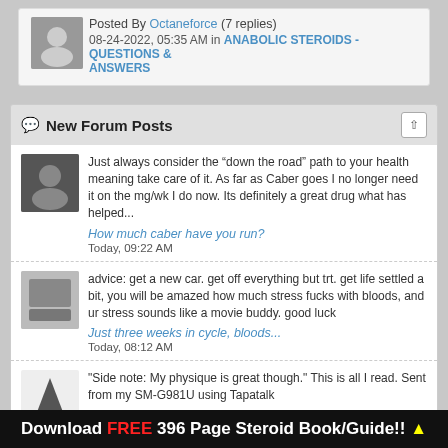Posted By Octaneforce (7 replies)
08-24-2022, 05:35 AM in ANABOLIC STEROIDS - QUESTIONS & ANSWERS
New Forum Posts
Just always consider the “down the road” path to your health meaning take care of it. As far as Caber goes I no longer need it on the mg/wk I do now. Its definitely a great drug what has helped...
How much caber have you run?
Today, 09:22 AM
advice: get a new car. get off everything but trt. get life settled a bit, you will be amazed how much stress fucks with bloods, and ur stress sounds like a movie buddy. good luck
Just three weeks in cycle, bloods...
Today, 08:12 AM
"Side note: My physique is great though." This is all I read. Sent from my SM-G981U using Tapatalk
Just three weeks in cycle, bloods...
Today, 07:19 AM
I did two anavar only cycles 2 years ago. Stuff is just to high. lol But I liked it for what it was. Pretty sure my hormone dr wouldnt prescript it...at least not in doses like what I was taking. ...
Download FREE 396 Page Steroid Book/Guide!! ▲